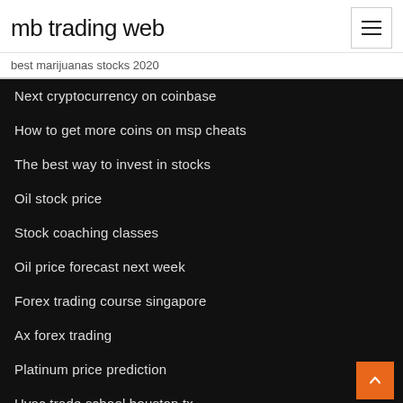mb trading web
best marijuanas stocks 2020
Next cryptocurrency on coinbase
How to get more coins on msp cheats
The best way to invest in stocks
Oil stock price
Stock coaching classes
Oil price forecast next week
Forex trading course singapore
Ax forex trading
Platinum price prediction
Hvac trade school houston tx